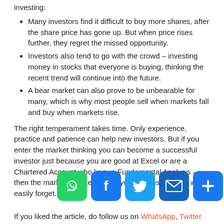investing:
Many investors find it difficult to buy more shares, after the share price has gone up. But when price rises further, they regret the missed opportunity.
Investors also tend to go with the crowd – investing money in stocks that everyone is buying, thinking the recent trend will continue into the future.
A bear market can also prove to be unbearable for many, which is why most people sell when markets fall and buy when markets rise.
The right temperament takes time. Only experience, practice and patience can help new investors. But if you enter the market thinking you can become a successful investor just because you are good at Excel or are a Chartered Account who knows Fundamental Analysis – then the market will likely teach you lessons that you won't easily forget.
If you liked the article, do follow us on WhatsApp, Twitter